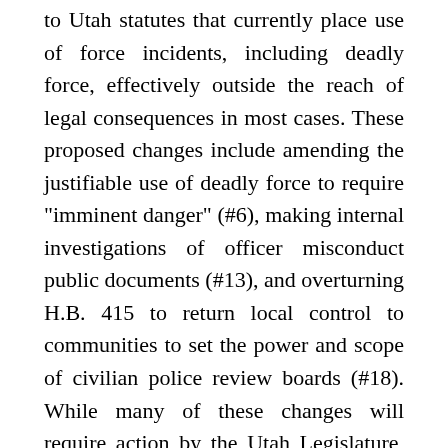to Utah statutes that currently place use of force incidents, including deadly force, effectively outside the reach of legal consequences in most cases. These proposed changes include amending the justifiable use of deadly force to require "imminent danger" (#6), making internal investigations of officer misconduct public documents (#13), and overturning H.B. 415 to return local control to communities to set the power and scope of civilian police review boards (#18). While many of these changes will require action by the Utah Legislature, we note with optimism that criminal justice reform has seen progress in recent legislative sessions. These reforms are much needed to ensure that the criminal legal system does not continue to be an emblem of